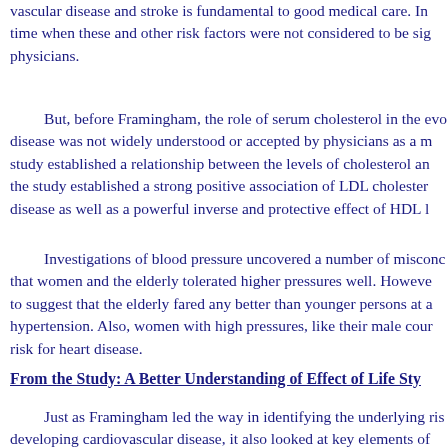vascular disease and stroke is fundamental to good medical care. In time when these and other risk factors were not considered to be sig physicians.
But, before Framingham, the role of serum cholesterol in the evo disease was not widely understood or accepted by physicians as a m study established a relationship between the levels of cholesterol an the study established a strong positive association of LDL cholester disease as well as a powerful inverse and protective effect of HDL l
Investigations of blood pressure uncovered a number of misconc that women and the elderly tolerated higher pressures well. Howeve to suggest that the elderly fared any better than younger persons at a hypertension. Also, women with high pressures, like their male cour risk for heart disease.
From the Study: A Better Understanding of Effect of Life Sty
Just as Framingham led the way in identifying the underlying ris developing cardiovascular disease, it also looked at key elements of